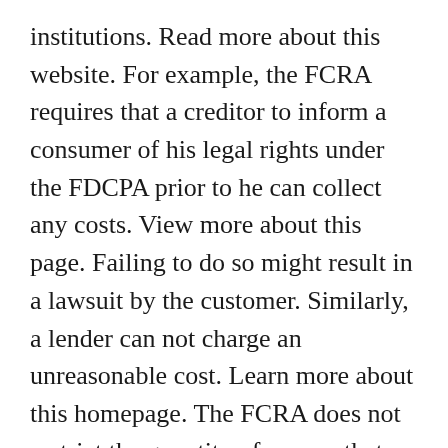institutions. Read more about this website. For example, the FCRA requires that a creditor to inform a consumer of his legal rights under the FDCPA prior to he can collect any costs. View more about this page. Failing to do so might result in a lawsuit by the customer. Similarly, a lender can not charge an unreasonable cost. Learn more about this homepage. The FCRA does not restrict the quantity of money that a lender can bill a customer ahead of really collecting financial obligation. Nevertheless, he can not take an advance repayment of more than 10 percent of the total debt owed. Check here for more info. In addition, a financial institution